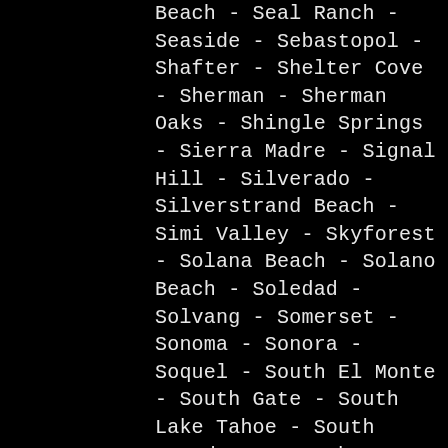Beach - Seal Ranch - Seaside - Sebastopol - Shafter - Shelter Cove - Sherman - Sherman Oaks - Shingle Springs - Sierra Madre - Signal Hill - Silverado - Silverstrand Beach - Simi Valley - Skyforest - Solana Beach - Solano Beach - Soledad - Solvang - Somerset - Sonoma - Sonora - Soquel - South El Monte - South Gate - South Lake Tahoe - South Pasadena - South San Francisco - South San Gabriel - Spring Valley - Springville - St. Helena - Stanislaus - Stockton - Studio City - Suisun - Suisun City - Summerland - Sun City - Sunland - Sunnyvale - Sunol - Sunset Beach - Sun Valley - Surfside - Sylmar - Taft - Tahoe City - Tahoe Vista - Tarzana - Tecopa - Tehachapi - Temecula - Temple City - Templeton - Thousand Oaks - Three Rivers - Tiburon - Tierrasanta - Toluca Lake - Topanga - Torrance - Tracy - Trinidad - Truckee -